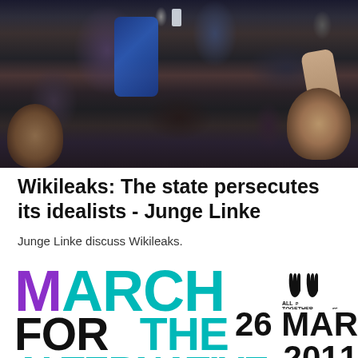[Figure (photo): Black and white photo of a crowd of people, some holding up phones/cameras, with a person in a blue sleeve visible in the center]
Wikileaks: The state persecutes its idealists - Junge Linke
Junge Linke discuss Wikileaks.
[Figure (illustration): March for the Alternative protest poster with colorful lettering in purple, teal, and black. Shows 'MARCH FOR THE ALTERNATIVE:' text with '26 MAR 2011' date and 'All Together' logo with raised hands]